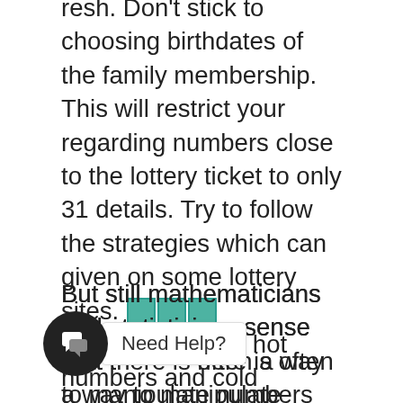resh. Don't stick to choosing birthdates of the family membership. This will restrict your regarding numbers close to the lottery ticket to only 31 details. Try to follow the strategies which can given on some lottery sites. [emoji] could use the hot numbers and cold numbers option. A number of people choose numbers which also been selected in draws inside of the last 1 year. These numbers are since hot quantity. While other synthetic to choose numbers which have not been selected each morning last one year – they think that the probability of such numbers being selected is higher – such numbers are in order to cold statistics. It finally is determined by you actual want go for for your lottery infractions.
But still mathematicians and statisticians sense that there is often a way to manipulate numbers and that you can find all possible combinations that can be played specially when it to be able to the pick three Oolla lottory system. Tha absolute from han selected...
[Figure (other): Chat widget with circular dark icon showing overlapping speech bubbles and a 'Need Help?' text bubble]